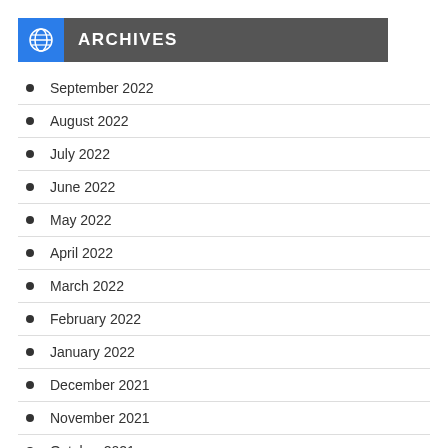ARCHIVES
September 2022
August 2022
July 2022
June 2022
May 2022
April 2022
March 2022
February 2022
January 2022
December 2021
November 2021
October 2021